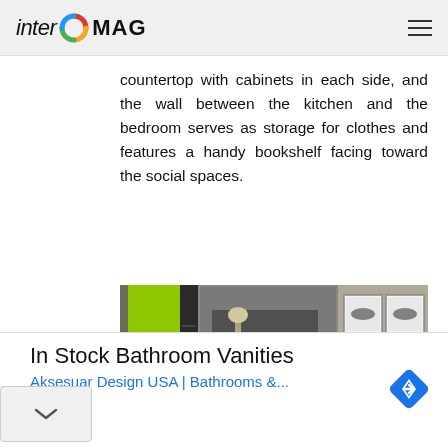inter MAG
countertop with cabinets in each side, and the wall between the kitchen and the bedroom serves as storage for clothes and features a handy bookshelf facing toward the social spaces.
[Figure (photo): Interior room photo showing a modern space with a bright yellow-green door on the left, a decorative mosaic/mirrored wall feature in the center with a floating shelf, a purple curved cabinet/bar element, and framed artwork on the right wall. White sofa visible on the right.]
In Stock Bathroom Vanities
Aksesuar Design USA | Bathrooms &...